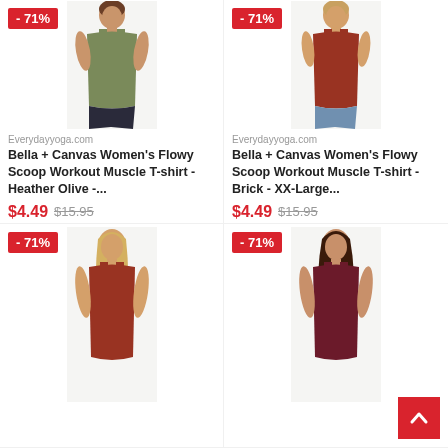[Figure (photo): Woman wearing olive green sleeveless muscle tank top, with -71% badge]
Everydayyoga.com
Bella + Canvas Women's Flowy Scoop Workout Muscle T-shirt - Heather Olive -...
$4.49 $15.95
[Figure (photo): Woman wearing brick red sleeveless muscle tank top, with -71% badge]
Everydayyoga.com
Bella + Canvas Women's Flowy Scoop Workout Muscle T-shirt - Brick - XX-Large...
$4.49 $15.95
[Figure (photo): Woman wearing brick red sleeveless muscle tank top, with -71% badge]
[Figure (photo): Woman wearing maroon sleeveless muscle tank top, with -71% badge]